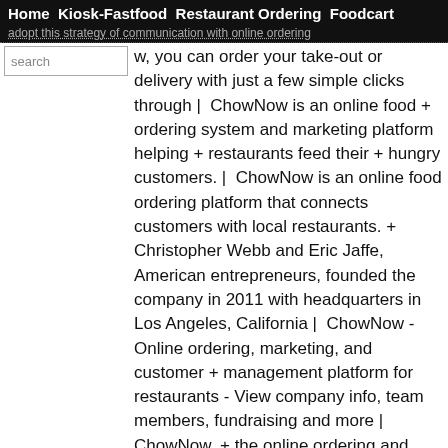Home  Kiosk-Fastfood  Restaurant Ordering  Foodcart
adopt this strategy of communication with online ordering w, you can order your take-out or delivery with just a few simple clicks through | ChowNow is an online food + ordering system and marketing platform helping + restaurants feed their + hungry customers. | ChowNow is an online food ordering platform that connects customers with local restaurants. + Christopher Webb and Eric Jaffe, American entrepreneurs, founded the company in 2011 with headquarters in Los Angeles, California | ChowNow - Online ordering, marketing, and customer + management platform for restaurants - View company info, team members, fundraising and more | ChowNow, + the online ordering and marketing platform for restaurants, is proud to announce a new partnership with Google that brings Google Wallet to thousands of independent restaurants across the United States. As of today all ChowNow restaurant clients' ordering